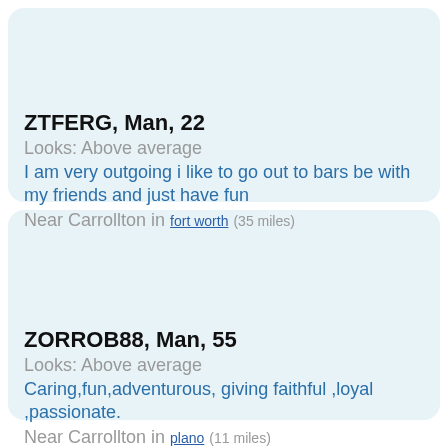ZTFERG, Man, 22
Looks: Above average
I am very outgoing i like to go out to bars be with my friends and just have fun
Near Carrollton in fort worth (35 miles)
ZORROB88, Man, 55
Looks: Above average
Caring,fun,adventurous, giving faithful ,loyal ,passionate.
Near Carrollton in plano (11 miles)